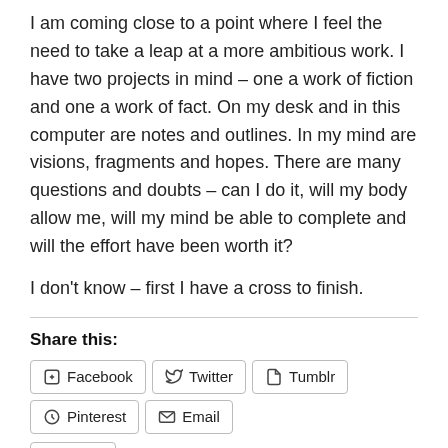I am coming close to a point where I feel the need to take a leap at a more ambitious work.  I have two projects in mind – one a work of fiction and one a work of fact.  On my desk and in this computer are notes and outlines.  In my mind are visions, fragments and hopes.  There are many questions and doubts – can I do it, will my body allow me, will my mind be able to complete and will the effort have been worth it?
I don't know – first I have a cross to finish.
Share this:
Facebook
Twitter
Tumblr
Pinterest
Email
More
[Figure (photo): Like button box and three user avatar thumbnails at the bottom of the page]